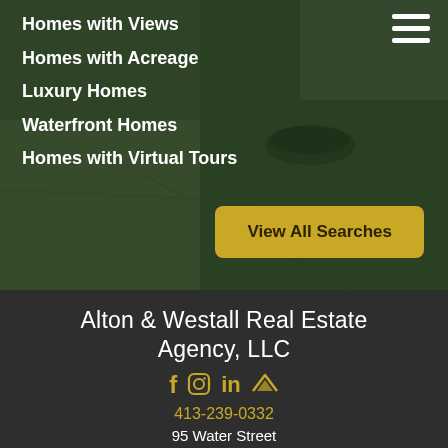[Figure (photo): Hero background image of an outdoor patio/deck with stone pavers and a bowl, overlaid with dark green tint]
Homes with Views
Homes with Acreage
Luxury Homes
Waterfront Homes
Homes with Virtual Tours
View All Searches
Alton & Westall Real Estate Agency, LLC
f  in  (social icons: Facebook, Instagram, LinkedIn, Zillow)
413-239-0332
95 Water Street
Williamstown, MA 01267
info@altonwestall.com